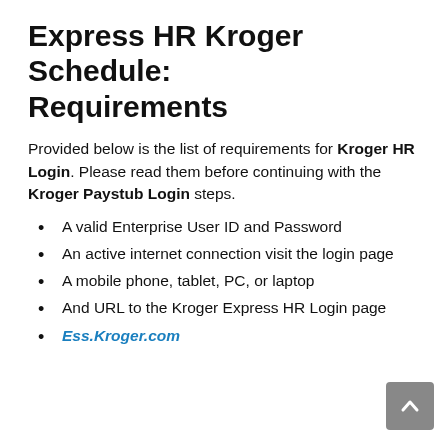Express HR Kroger Schedule: Requirements
Provided below is the list of requirements for Kroger HR Login. Please read them before continuing with the Kroger Paystub Login steps.
A valid Enterprise User ID and Password
An active internet connection visit the login page
A mobile phone, tablet, PC, or laptop
And URL to the Kroger Express HR Login page
Ess.Kroger.com